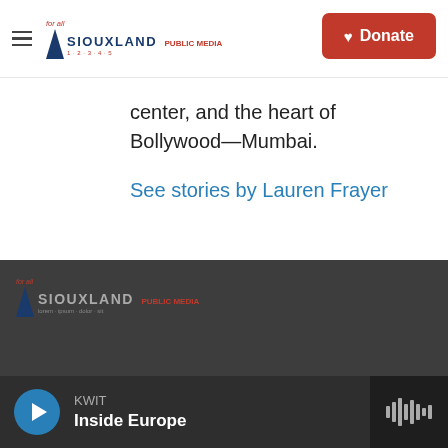for all SIOUXLAND PUBLIC MEDIA
center, and the heart of Bollywood—Mumbai.
See stories by Lauren Frayer
[Figure (logo): Siouxland Public Media logo in dark footer area]
KWIT Inside Europe